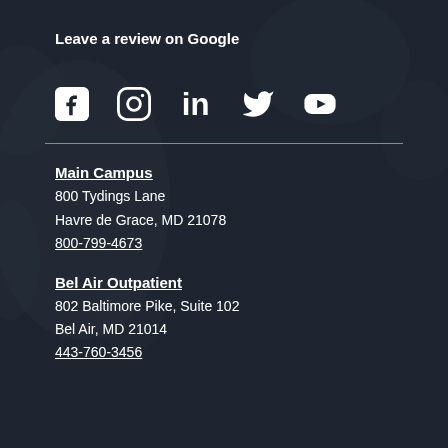Leave a review on Google
[Figure (illustration): Social media icons row: Facebook, Instagram, LinkedIn, Twitter, YouTube]
Main Campus
800 Tydings Lane
Havre de Grace, MD 21078
800-799-4673
Bel Air Outpatient
802 Baltimore Pike, Suite 102
Bel Air, MD 21014
443-760-3456